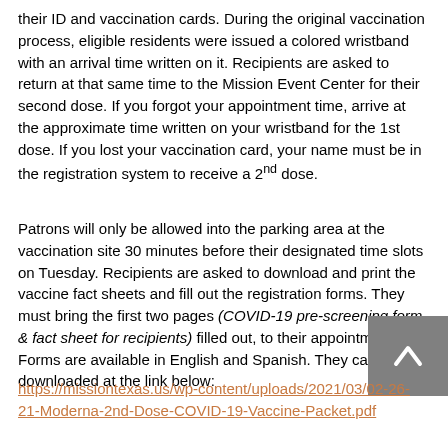their ID and vaccination cards. During the original vaccination process, eligible residents were issued a colored wristband with an arrival time written on it. Recipients are asked to return at that same time to the Mission Event Center for their second dose. If you forgot your appointment time, arrive at the approximate time written on your wristband for the 1st dose. If you lost your vaccination card, your name must be in the registration system to receive a 2nd dose.
Patrons will only be allowed into the parking area at the vaccination site 30 minutes before their designated time slots on Tuesday. Recipients are asked to download and print the vaccine fact sheets and fill out the registration forms. They must bring the first two pages (COVID-19 pre-screening form & fact sheet for recipients) filled out, to their appointment. Forms are available in English and Spanish. They can be downloaded at the link below:
https://missiontexas.us/wp-content/uploads/2021/03/02-26-21-Moderna-2nd-Dose-COVID-19-Vaccine-Packet.pdf